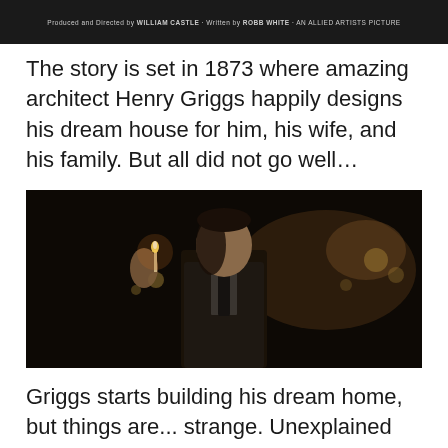[Figure (screenshot): Top portion of a movie poster or title card with dark background and text: 'Produced and Directed by WILLIAM CASTLE · Written by ROBB WHITE · AN ALLIED ARTISTS PICTURE']
The story is set in 1873 where amazing architect Henry Griggs happily designs his dream house for him, his wife, and his family. But all did not go well…
[Figure (screenshot): Film still of a man in a suit holding a lit match in a dark atmospheric tunnel-like setting with blurred lights in background. Subtitle text reads: 'If you're interested in stories with happy endings, then you would be better off somewhere else.']
Griggs starts building his dream home, but things are... strange. Unexplained things happen, items moved, a spooky feeling is over all the workers, his foreman leaves